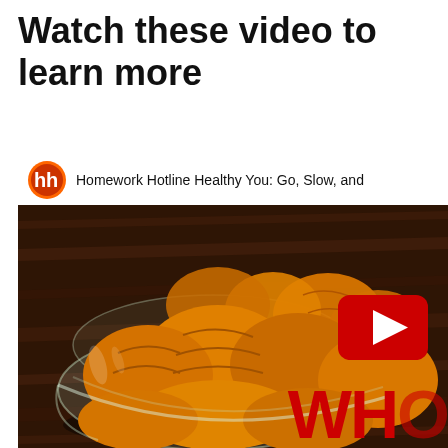Watch these video to learn more
[Figure (screenshot): YouTube video thumbnail showing a glass bowl of mandarin orange segments on a wooden surface. The video is titled 'Homework Hotline Healthy You: Go, Slow, and...' with the hh channel logo in the top-left corner. A red YouTube play button appears on the right side. Red bold text 'WHO' is partially visible at the bottom right.]